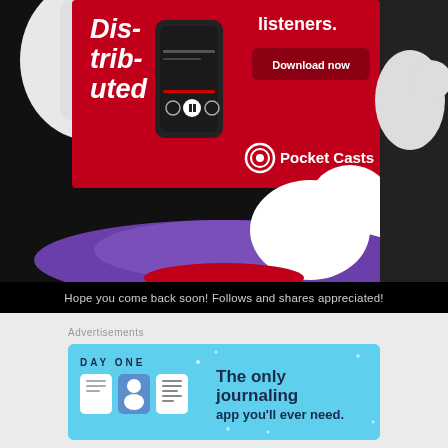[Figure (screenshot): Composite image: anime character with white/purple/green coloring in background, overlaid with a Pocket Casts app advertisement on a red background showing 'Dis-trib-uted' text, a smartphone mockup, 'Download now' button, and Pocket Casts logo with headphone icon.]
Hope you come back soon! Follows and shares appreciated!
[Figure (screenshot): Day One journaling app advertisement on a light blue background. Shows 'DAY ONE' logo text, app icon illustrations, and tagline: 'The only journaling app you'll ever need.']